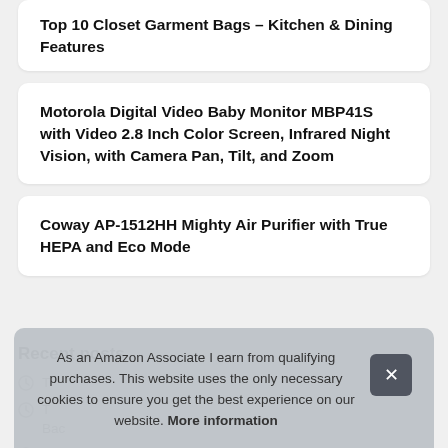Top 10 Closet Garment Bags – Kitchen & Dining Features
Motorola Digital Video Baby Monitor MBP41S with Video 2.8 Inch Color Screen, Infrared Night Vision, with Camera Pan, Tilt, and Zoom
Coway AP-1512HH Mighty Air Purifier with True HEPA and Eco Mode
Recent posts
T...
T... Bac...
Top 10 12x14 Replacement Glass – Suitcases
As an Amazon Associate I earn from qualifying purchases. This website uses the only necessary cookies to ensure you get the best experience on our website. More information